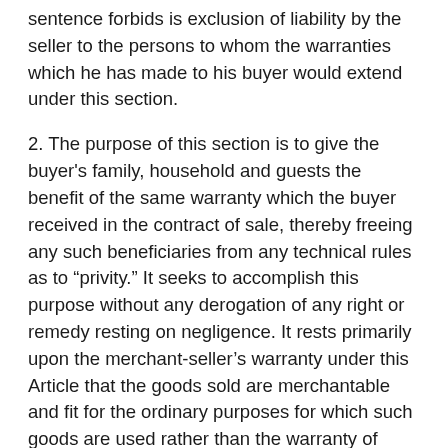sentence forbids is exclusion of liability by the seller to the persons to whom the warranties which he has made to his buyer would extend under this section.
2. The purpose of this section is to give the buyer's family, household and guests the benefit of the same warranty which the buyer received in the contract of sale, thereby freeing any such beneficiaries from any technical rules as to “privity.” It seeks to accomplish this purpose without any derogation of any right or remedy resting on negligence. It rests primarily upon the merchant-seller’s warranty under this Article that the goods sold are merchantable and fit for the ordinary purposes for which such goods are used rather than the warranty of fitness for a particular purpose. Implicit in the section is that any beneficiary of a warranty may bring a direct action for breach of warranty against the seller whose warranty extends to him.
3. This section expressly includes as beneficiaries within its scope the family, household and guests of the buyer...